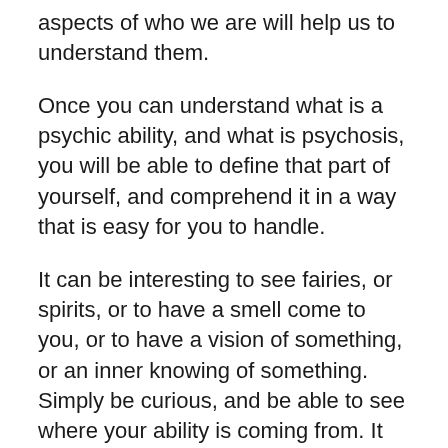aspects of who we are will help us to understand them.
Once you can understand what is a psychic ability, and what is psychosis, you will be able to define that part of yourself, and comprehend it in a way that is easy for you to handle.
It can be interesting to see fairies, or spirits, or to have a smell come to you, or to have a vision of something, or an inner knowing of something. Simply be curious, and be able to see where your ability is coming from. It can be a great help to have that clarity around your psychic senses, and to be able to know when something is happening for you in terms of one of the five psychic